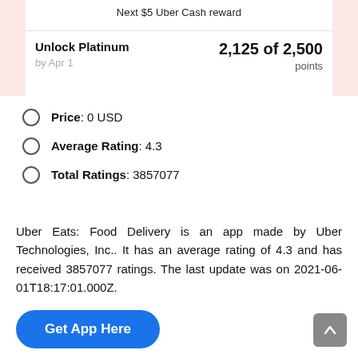Next $5 Uber Cash reward
Unlock Platinum   2,125 of 2,500
by Apr 1   points
Price: 0 USD
Average Rating: 4.3
Total Ratings: 3857077
Uber Eats: Food Delivery is an app made by Uber Technologies, Inc.. It has an average rating of 4.3 and has received 3857077 ratings. The last update was on 2021-06-01T18:17:01.000Z.
Get App Here